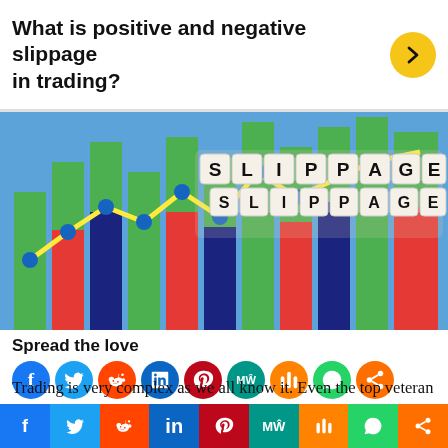What is positive and negative slippage in trading?
[Figure (photo): Colorful bar chart with letter dice spelling 'SLIPPAGE' on top, with a yellow line graph on a blue background]
Spread the love
[Figure (infographic): Row of social media share icons: Facebook, Twitter, Reddit, LinkedIn, Pinterest, MeWe, Mix, WhatsApp, Share]
Last updated on July 17th, 2022 at 09:21 pm
Trading is very complex as we all know it. Even the top veteran traders have to go through a lot of stress and financial issues due to so many new techniques. Making the right trade requires years of experience and
[Figure (infographic): Bottom social share bar with Facebook, Twitter, Reddit, LinkedIn, Pinterest, MeWe, Mix, WhatsApp, Share segments]